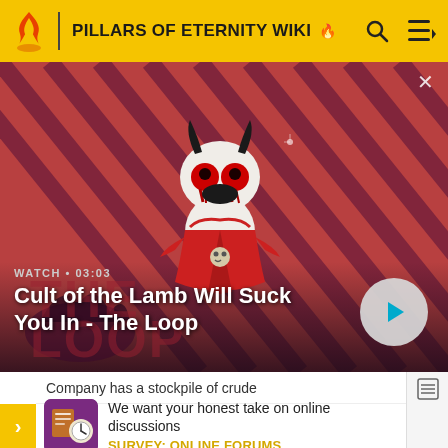PILLARS OF ETERNITY WIKI
[Figure (screenshot): Video thumbnail showing animated character from Cult of the Lamb game with diagonal striped background in red and dark purple. Character is a lamb with horns and glowing red eyes wearing a red robe.]
WATCH • 03:03
Cult of the Lamb Will Suck You In - The Loop
Company has a stockpile of crude
[Figure (illustration): Survey promotional image with purple background showing survey/discussion icons]
We want your honest take on online discussions
SURVEY: ONLINE FORUMS